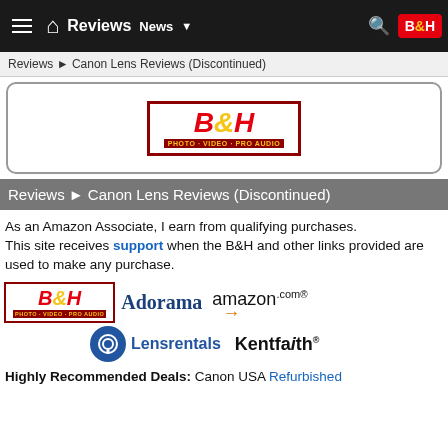Reviews | News | B&H
Reviews ▶ Canon Lens Reviews (Discontinued)
[Figure (logo): B&H Photo Video Pro Audio logo in a bordered box]
Reviews ▶ Canon Lens Reviews (Discontinued)
As an Amazon Associate, I earn from qualifying purchases. This site receives support when the B&H and other links provided are used to make any purchase.
[Figure (logo): B&H Photo Video Pro Audio logo, Adorama logo, Amazon.com logo, Lensrentals logo, Kentfaith logo]
Highly Recommended Deals: Canon USA Refurbished